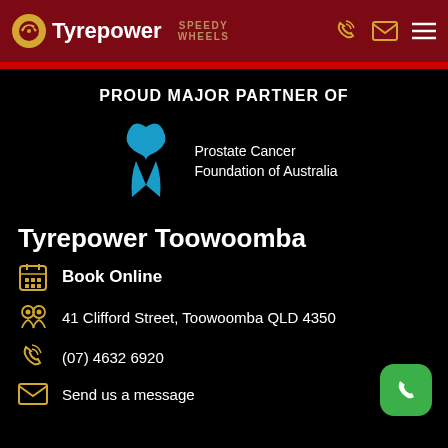Tyrepower | Speedy Wheels
PROUD MAJOR PARTNER OF
[Figure (logo): Prostate Cancer Foundation of Australia logo with blue ribbon and text]
Tyrepower Toowoomba
Book Online
41 Clifford Street, Toowoomba QLD 4350
(07) 4632 6920
Send us a message